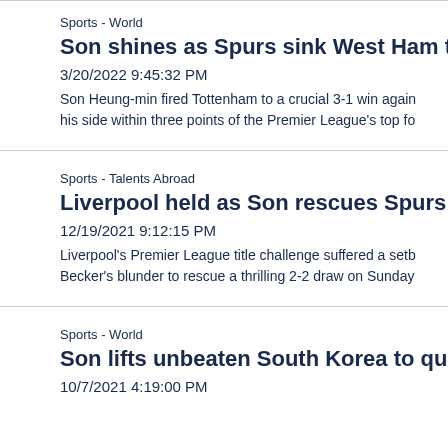Sports - World
Son shines as Spurs sink West Ham to bols...
3/20/2022 9:45:32 PM
Son Heung-min fired Tottenham to a crucial 3-1 win again... his side within three points of the Premier League's top fo...
Sports - Talents Abroad
Liverpool held as Son rescues Spurs in thr...
12/19/2021 9:12:15 PM
Liverpool's Premier League title challenge suffered a setb... Becker's blunder to rescue a thrilling 2-2 draw on Sunday...
Sports - World
Son lifts unbeaten South Korea to qualifier...
10/7/2021 4:19:00 PM